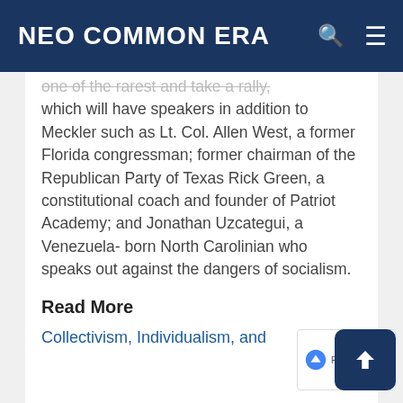NEO COMMON ERA
which will have speakers in addition to Meckler such as Lt. Col. Allen West, a former Florida congressman; former chairman of the Republican Party of Texas Rick Green, a constitutional coach and founder of Patriot Academy; and Jonathan Uzcategui, a Venezuela-born North Carolinian who speaks out against the dangers of socialism.
Read More
Collectivism, Individualism, and